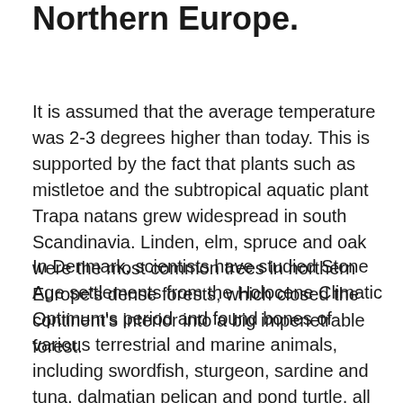Northern Europe.
It is assumed that the average temperature was 2-3 degrees higher than today. This is supported by the fact that plants such as mistletoe and the subtropical aquatic plant Trapa natans grew widespread in south Scandinavia. Linden, elm, spruce and oak were the most common trees in northern Europe's dense forests, which closed the continent's interior into a big impenetrable forest.
In Denmark, scientists have studied Stone Age settlements from the Holocene Climatic Optimum's period and found bones of various terrestrial and marine animals, including swordfish, sturgeon, sardine and tuna, dalmatian pelican and pond turtle, all of which are species that today live in warmer climes.